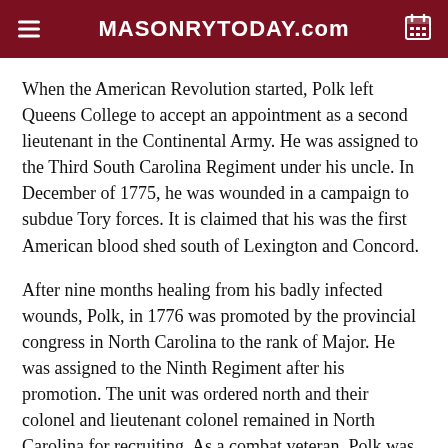MASONRYTODAY.com
When the American Revolution started, Polk left Queens College to accept an appointment as a second lieutenant in the Continental Army. He was assigned to the Third South Carolina Regiment under his uncle. In December of 1775, he was wounded in a campaign to subdue Tory forces. It is claimed that his was the first American blood shed south of Lexington and Concord.
After nine months healing from his badly infected wounds, Polk, in 1776 was promoted by the provincial congress in North Carolina to the rank of Major. He was assigned to the Ninth Regiment after his promotion. The unit was ordered north and their colonel and lieutenant colonel remained in North Carolina for recruiting. As a combat veteran, Polk was given command of the unit. He marched the unit up to Trenton, New Jersey where they joined with the main body of George Washington's troops.
In 1777, Polk was wounded again. This time he was shot in